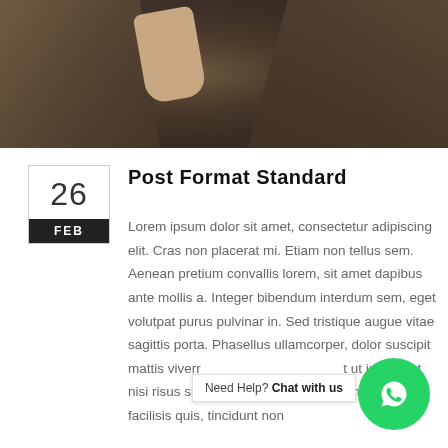[Figure (photo): Close-up photo of a man wearing a brown tweed jacket with a pocket square and denim shirt, holding something, photographed from chest level.]
Post Format Standard
Lorem ipsum dolor sit amet, consectetur adipiscing elit. Cras non placerat mi. Etiam non tellus sem. Aenean pretium convallis lorem, sit amet dapibus ante mollis a. Integer bibendum interdum sem, eget volutpat purus pulvinar in. Sed tristique augue vitae sagittis porta. Phasellus ullamcorper, dolor suscipit mattis viverra t... ut imperdiet nisi risus sit amet ante. Sed sem lorem, laoreet et facilisis quis, tincidunt non
Need Help? Chat with us